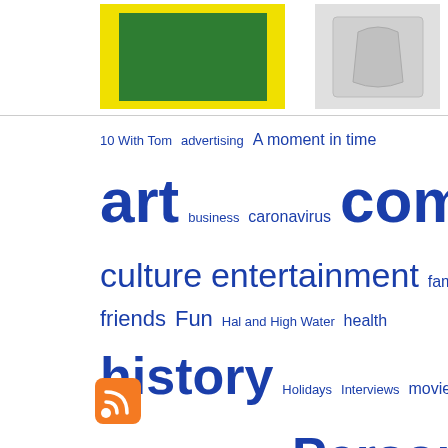[Figure (photo): Top section showing two product images: left image shows a green flag on yellow background, right image shows a white/grey t-shirt on grey background]
10 With Tom  advertising  A moment in time  art  business  caronavirus  comics  culture  entertainment  family  Food  friends  Fun  Hal and High Water  health  history  Holidays  Interviews  movies  museums  music  news  newspapers  Personal  political  Pop Culture  social media  Tomversation comics  travel  tv
[Figure (logo): RSS feed orange icon with white wifi/broadcast symbol]